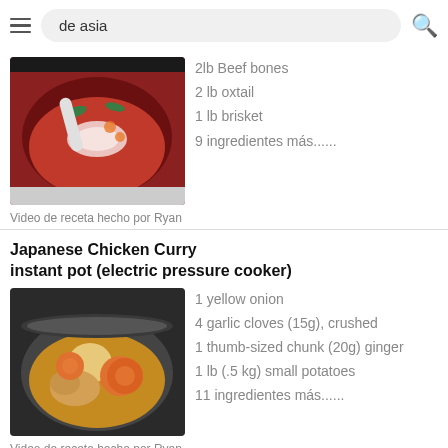de asia
[Figure (photo): Bowl of Korean beef soup with sliced onions and garnish]
2lb Beef bones
2 lb oxtail
1 lb brisket
9 ingredientes más......
Video de receta hecho por Ryan
Japanese Chicken Curry instant pot (electric pressure cooker)
[Figure (photo): Bowl of Japanese chicken curry with carrots and potatoes]
1 yellow onion
4 garlic cloves (15g), crushed
1 thumb-sized chunk (20g) ginger
1 lb (.5 kg) small potatoes
11 ingredientes más......
Video de receta hecho por Ryan